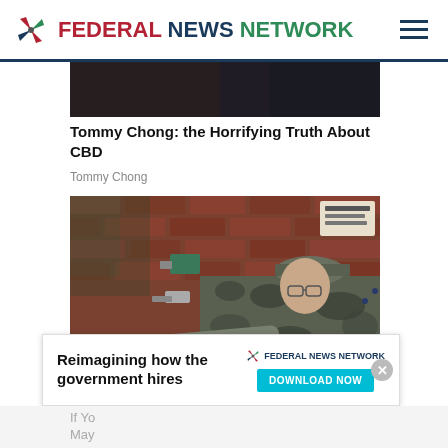FEDERAL NEWS NETWORK
[Figure (photo): Partially visible dark photograph at top of article]
Tommy Chong: the Horrifying Truth About CBD
Tommy Chong
[Figure (photo): A military serviceman in camouflage uniform and cap crouching against a red brick wall, working with both hands on something attached to the wall]
[Figure (infographic): Advertisement banner: Reimagining how the government hires — Federal News Network — DOWNLOAD NOW button]
If Yo
May